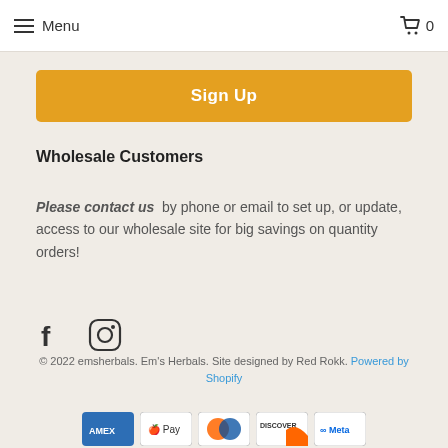Menu  0
Sign Up
Wholesale Customers
Please contact us by phone or email to set up, or update, access to our wholesale site for big savings on quantity orders!
[Figure (illustration): Facebook and Instagram social media icons]
© 2022 emsherbals. Em's Herbals. Site designed by Red Rokk. Powered by Shopify
[Figure (illustration): Payment method icons: AMEX, Apple Pay, Diners Club, Discover, Meta Pay]